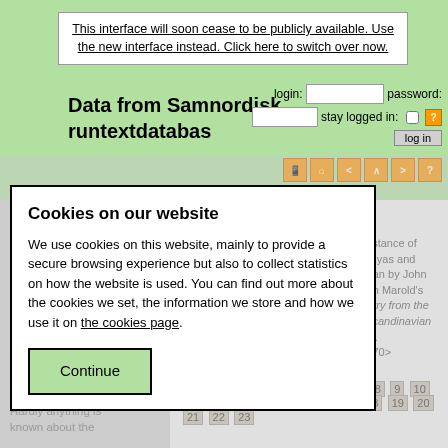This interface will soon cease to be publicly available. Use the new interface instead. Click here to switch over now.
Data from Samnordisk runtextdatabas
login:  password:  stay logged in:  log in
[Figure (screenshot): Navigation icons row with orange buttons: mobile, home, back, up, forward, help]
Eilífr Goðrúnarson (Eil)
10th century;
Þórsdrápa — Eil Þdr[ii]
Edited by Richard Perkins with the assistance of Vivian Busch, Jana Krüger, Ann-Dörte Kyas and Katharina Seidel, translated from German by John Bjarne Storfjord. Based on Skj and Edith Marold's Þórsdrápa. In: Whaley, Diana (ed.) Poetry from the Kings' Sagas 1. Skaldic Poetry of the Scandinavian Middle Ages 3. Turnhout: Brepols, p. 68. <https://skaldic.org/m.php?p=text&i=1170> (accessed 19 August 2022)
stanzas: 1 2 3 4 5 6 7 8 9 10 11 12 13 14 15 16 17 18 19 20 21 22 23
Hardly anything is known about the
Cookies on our website
We use cookies on this website, mainly to provide a secure browsing experience but also to collect statistics on how the website is used. You can find out more about the cookies we set, the information we store and how we use it on the cookies page.
Continue